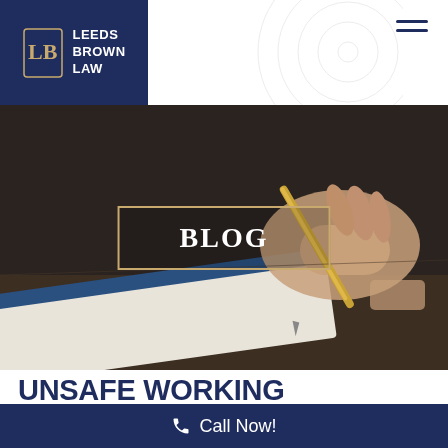Leeds Brown Law
[Figure (photo): Hero image showing a person's hand writing with a gold fountain pen on a notebook, dark moody background, with a 'BLOG' label overlay in a bordered box]
UNSAFE WORKING CONDITIONS: FLATBUSH
Call Now!